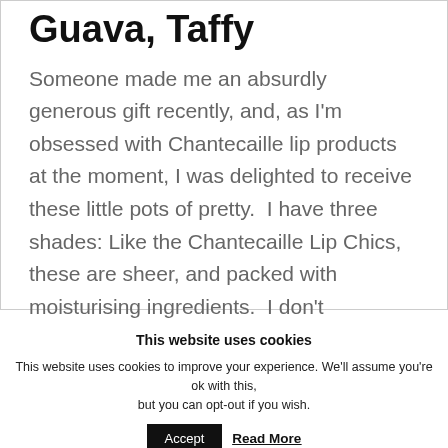Guava, Taffy
Someone made me an absurdly generous gift recently, and, as I'm obsessed with Chantecaille lip products at the moment, I was delighted to receive these little pots of pretty.  I have three shades: Like the Chantecaille Lip Chics, these are sheer, and packed with moisturising ingredients.  I don't
This website uses cookies
This website uses cookies to improve your experience. We'll assume you're ok with this, but you can opt-out if you wish.
Accept  Read More